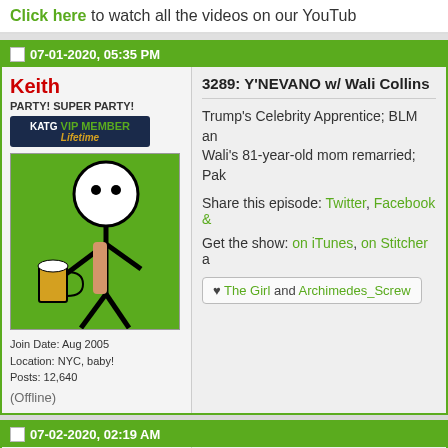Click here to watch all the videos on our YouTube
07-01-2020, 05:35 PM
Keith
PARTY! SUPER PARTY!
KATG VIP MEMBER Lifetime
Join Date: Aug 2005
Location: NYC, baby!
Posts: 12,640
(Offline)
3289: Y'NEVANO w/ Wali Collins
Trump's Celebrity Apprentice; BLM and Wali's 81-year-old mom remarried; Pak
Share this episode: Twitter, Facebook &
Get the show: on iTunes, on Stitcher a
♥ The Girl and Archimedes_Screw
07-02-2020, 02:19 AM
Apia resurrected
Senior Member
I liked him a lot.